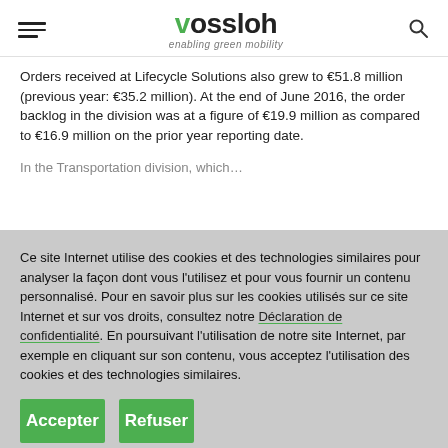Vossloh – enabling green mobility
Orders received at Lifecycle Solutions also grew to €51.8 million (previous year: €35.2 million). At the end of June 2016, the order backlog in the division was at a figure of €19.9 million as compared to €16.9 million on the prior year reporting date.
Ce site Internet utilise des cookies et des technologies similaires pour analyser la façon dont vous l'utilisez et pour vous fournir un contenu personnalisé. Pour en savoir plus sur les cookies utilisés sur ce site Internet et sur vos droits, consultez notre Déclaration de confidentialité. En poursuivant l'utilisation de notre site Internet, par exemple en cliquant sur son contenu, vous acceptez l'utilisation des cookies et des technologies similaires.
Accepter
Refuser